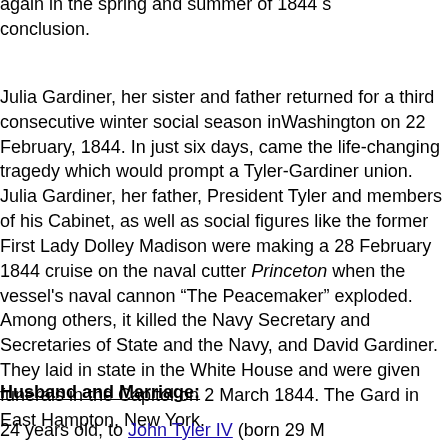again in the spring and summer of 1844 s conclusion.
Julia Gardiner, her sister and father returned for a third consecutive winter social season inWashington on 22 February, 1844. In just six days, came the life-changing tragedy which would prompt a Tyler-Gardiner union. Julia Gardiner, her father, President Tyler and members of his Cabinet, as well as social figures like the former First Lady Dolley Madison were making a 28 February 1844 cruise on the naval cutter Princeton when the vessel's naval cannon “The Peacemaker” exploded. Among others, it killed the Navy Secretary and Secretaries of State and the Navy, and David Gardiner. They laid in state in the White House and were given funerals in the Capitol on 2 March 1844. The Gard in East Hampton, New York.
Husband and Marriage:
24 years old, to John Tyler IV (born 29 M...